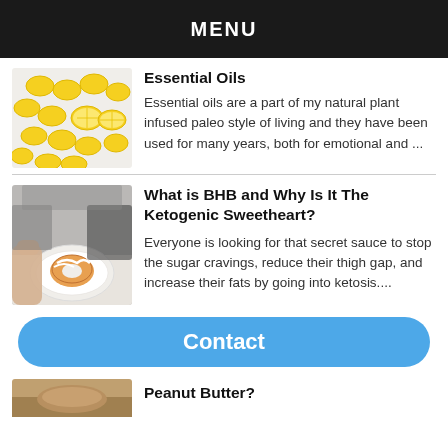MENU
Essential Oils
[Figure (photo): Lemons arranged on a white surface]
Essential oils are a part of my natural plant infused paleo style of living and they have been used for many years, both for emotional and ...
What is BHB and Why Is It The Ketogenic Sweetheart?
[Figure (photo): Person eating a donut or pastry at a table]
Everyone is looking for that secret sauce to stop the sugar cravings, reduce their thigh gap, and increase their fats by going into ketosis....
Contact
Peanut Butter?
[Figure (photo): Peanut butter food image, partially visible]